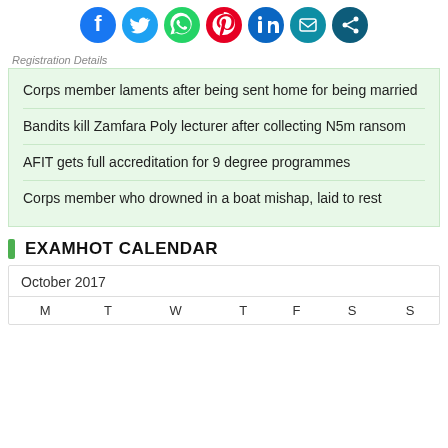[Figure (illustration): Social media sharing icons row: Facebook (blue), Twitter (blue), WhatsApp (green), Pinterest (red), LinkedIn (dark blue), Messenger (teal), Share (dark teal)]
Registration Details
Corps member laments after being sent home for being married
Bandits kill Zamfara Poly lecturer after collecting N5m ransom
AFIT gets full accreditation for 9 degree programmes
Corps member who drowned in a boat mishap, laid to rest
EXAMHOT CALENDAR
| M | T | W | T | F | S | S |
| --- | --- | --- | --- | --- | --- | --- |